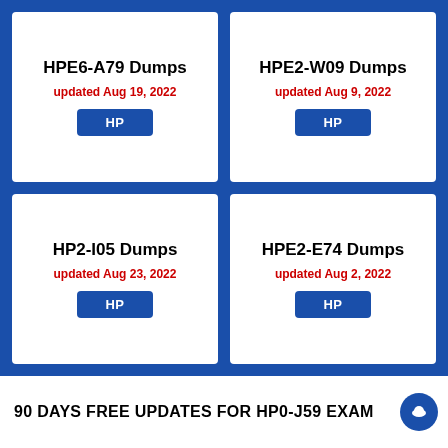HPE6-A79 Dumps
updated Aug 19, 2022
HP
HPE2-W09 Dumps
updated Aug 9, 2022
HP
HP2-I05 Dumps
updated Aug 23, 2022
HP
HPE2-E74 Dumps
updated Aug 2, 2022
HP
90 DAYS FREE UPDATES FOR HP0-J59 EXAM